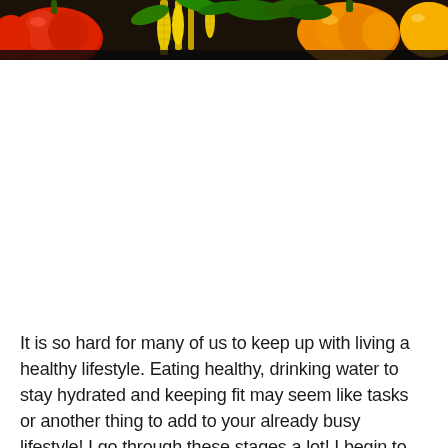[Figure (photo): A photograph of colorful vegetables including red bell peppers, yellow bell peppers, corn, and other produce arranged together on a dark background.]
It is so hard for many of us to keep up with living a healthy lifestyle. Eating healthy, drinking water to stay hydrated and keeping fit may seem like tasks or another thing to add to your already busy lifestyle! I go through these stages a lot! I begin to be rebellious at stages because of it and I feel as though I don't want to get up and pour that glass of